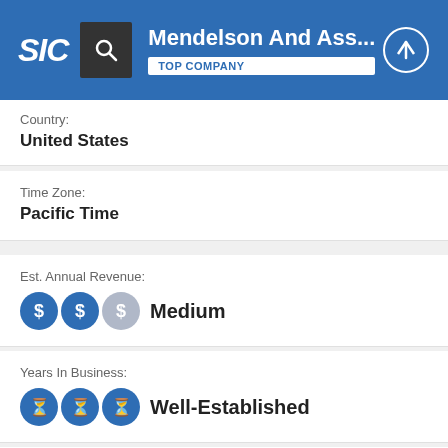SIC | Mendelson And Ass... | TOP COMPANY
Country:
United States
Time Zone:
Pacific Time
Est. Annual Revenue:
Medium
Years In Business:
Well-Established
Est. Company Size: